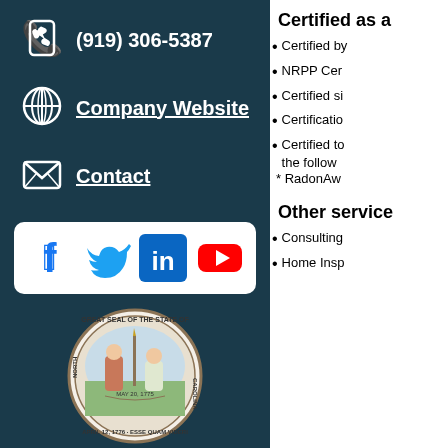(919) 306-5387
Company Website
Contact
[Figure (infographic): Social media icons: Facebook, Twitter, LinkedIn, YouTube on white rounded rectangle bar]
[Figure (illustration): Great Seal of the State of North Carolina]
North Carolina
State Radon Office Contact
Certified as a
Certified by
NRPP Cer
Certified si
Certificatio
Certified to the follow * RadonAw
Other service
Consulting
Home Insp